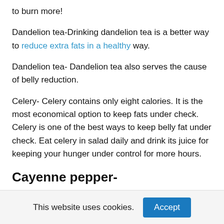to burn more!
Dandelion tea-Drinking dandelion tea is a better way to reduce extra fats in a healthy way.
Dandelion tea- Dandelion tea also serves the cause of belly reduction.
Celery- Celery contains only eight calories. It is the most economical option to keep fats under check. Celery is one of the best ways to keep belly fat under check. Eat celery in salad daily and drink its juice for keeping your hunger under control for more hours.
Cayenne pepper-
When you consume cayenne pepper with ginger you are in
This website uses cookies.